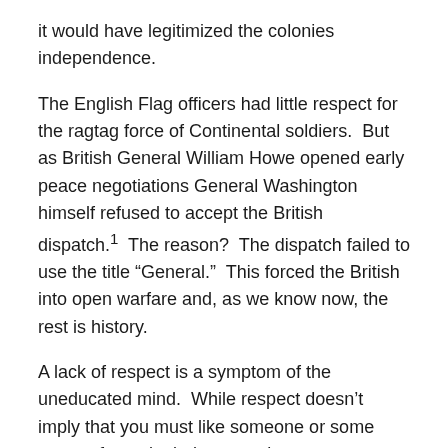it would have legitimized the colonies independence.
The English Flag officers had little respect for the ragtag force of Continental soldiers.  But as British General William Howe opened early peace negotiations General Washington himself refused to accept the British dispatch.¹  The reason?  The dispatch failed to use the title “General.”  This forced the British into open warfare and, as we know now, the rest is history.
A lack of respect is a symptom of the uneducated mind.  While respect doesn’t imply that you must like someone or some group of people, it does require us to acknowledge their importance and successes.  The U.S. military has done a much better job at instilling this lesson in its members since the Korean War and is part of the U.S. culture to respect others.
I learned a lot from those Korean War veterans.  During my time in combat I always had respect for the enemy (and others, of course).  In doing so, I never underestimated the enemy’s